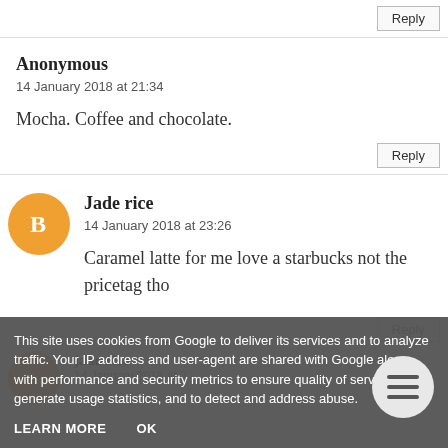Reply
Anonymous
14 January 2018 at 21:34
Mocha. Coffee and chocolate.
Reply
[Figure (illustration): Orange circular Blogger avatar icon for user Jade rice]
Jade rice
14 January 2018 at 23:26
Caramel latte for me love a starbucks not the pricetag tho
Reply
This site uses cookies from Google to deliver its services and to analyze traffic. Your IP address and user-agent are shared with Google along with performance and security metrics to ensure quality of service, generate usage statistics, and to detect and address abuse.
LEARN MORE
OK